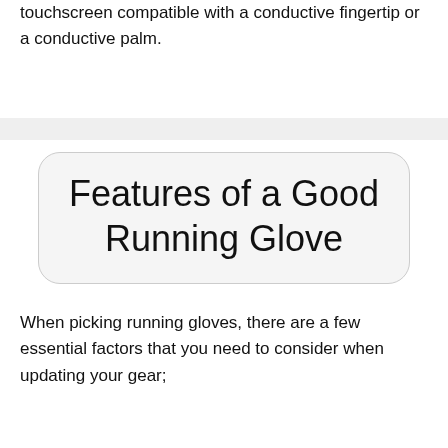touchscreen compatible with a conductive fingertip or a conductive palm.
Features of a Good Running Glove
When picking running gloves, there are a few essential factors that you need to consider when updating your gear;